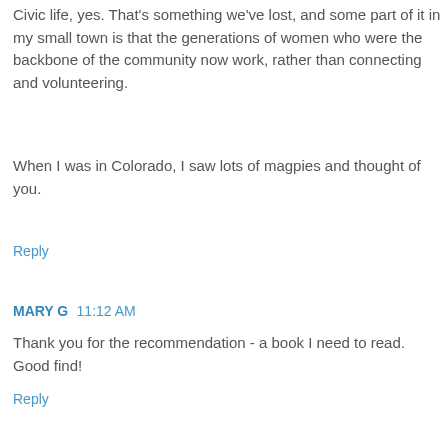Civic life, yes. That's something we've lost, and some part of it in my small town is that the generations of women who were the backbone of the community now work, rather than connecting and volunteering.
When I was in Colorado, I saw lots of magpies and thought of you.
Reply
MARY G  11:12 AM
Thank you for the recommendation - a book I need to read. Good find!
Reply
MARY G  9:26 PM
I am now one chapter in and learning a lot. Thanks again.
Reply